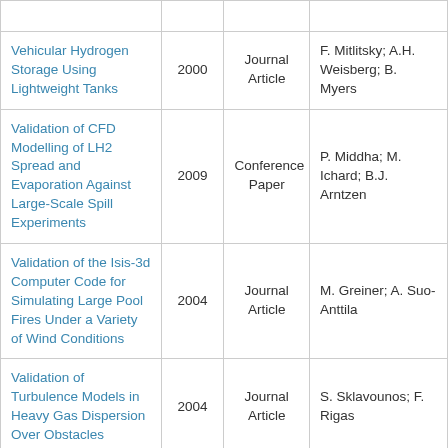| Title | Year | Type | Authors |
| --- | --- | --- | --- |
| (partial row at top) |  |  |  |
| Vehicular Hydrogen Storage Using Lightweight Tanks | 2000 | Journal Article | F. Mitlitsky; A.H. Weisberg; B. Myers |
| Validation of CFD Modelling of LH2 Spread and Evaporation Against Large-Scale Spill Experiments | 2009 | Conference Paper | P. Middha; M. Ichard; B.J. Arntzen |
| Validation of the Isis-3d Computer Code for Simulating Large Pool Fires Under a Variety of Wind Conditions | 2004 | Journal Article | M. Greiner; A. Suo-Anttila |
| Validation of Turbulence Models in Heavy Gas Dispersion Over Obstacles | 2004 | Journal Article | S. Sklavounos; F. Rigas |